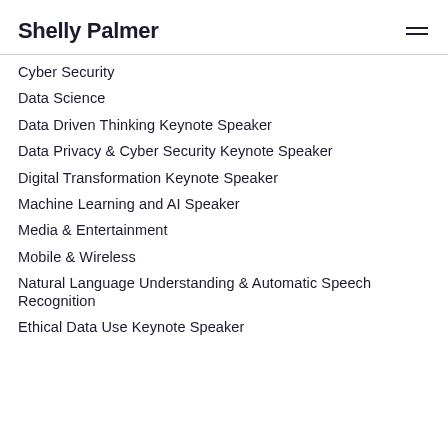Shelly Palmer
Cyber Security
Data Science
Data Driven Thinking Keynote Speaker
Data Privacy & Cyber Security Keynote Speaker
Digital Transformation Keynote Speaker
Machine Learning and AI Speaker
Media & Entertainment
Mobile & Wireless
Natural Language Understanding & Automatic Speech Recognition
Ethical Data Use Keynote Speaker